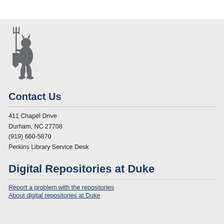[Figure (logo): Duke University Blue Devil mascot silhouette in gray, holding a trident and shield]
Contact Us
411 Chapel Drive
Durham, NC 27708
(919) 660-5870
Perkins Library Service Desk
Digital Repositories at Duke
Report a problem with the repositories
About digital repositories at Duke